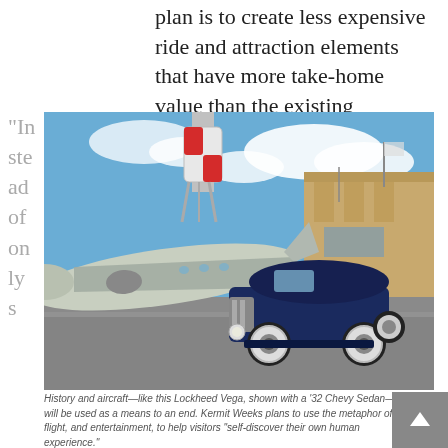plan is to create less expensive ride and attraction elements that have more take-home value than the existing industry.
“Instead of only s
[Figure (photo): A vintage Lockheed Vega aircraft parked next to a 1932 Chevy Sedan in front of a large art deco building with a red and white checkered water tower in the background.]
History and aircraft—like this Lockheed Vega, shown with a ‘32 Chevy Sedan—will be used as a means to an end. Kermit Weeks plans to use the metaphor of flight, and entertainment, to help visitors “self-discover their own human experience.”